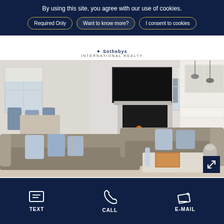By using this site, you agree with our use of cookies.
Required Only
Want to know more?
I consent to cookies
[Figure (logo): Sotheby's International Realty logo/wordmark in the navigation bar]
[Figure (photo): Interior living room photo showing a large grey sectional sofa, fireplace with wall-mounted TV, dining area with blue chairs, and open kitchen with pendant lights and white cabinetry]
TEXT   CALL   E-MAIL